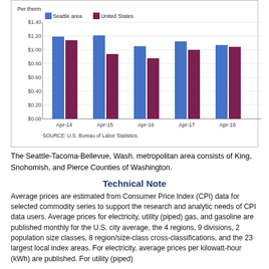[Figure (grouped-bar-chart): Natural gas prices, Seattle area and United States, 2014-2018 (as of April) Per therm]
The Seattle-Tacoma-Bellevue, Wash. metropolitan area consists of King, Snohomish, and Pierce Counties of Washington.
Technical Note
Average prices are estimated from Consumer Price Index (CPI) data for selected commodity series to support the research and analytic needs of CPI data users. Average prices for electricity, utility (piped) gas, and gasoline are published monthly for the U.S. city average, the 4 regions, 9 divisions, 2 population size classes, 8 region/size-class cross-classifications, and the 23 largest local index areas. For electricity, average prices per kilowatt-hour (kWh) are published. For utility (piped)